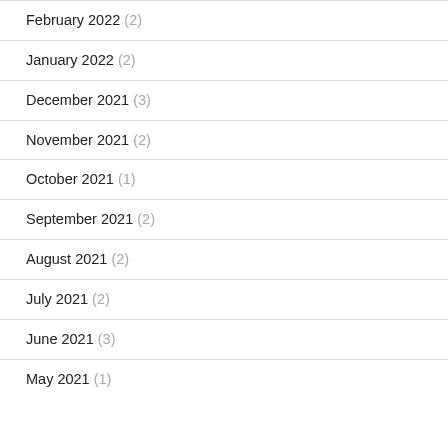February 2022 (2)
January 2022 (2)
December 2021 (3)
November 2021 (2)
October 2021 (1)
September 2021 (2)
August 2021 (2)
July 2021 (2)
June 2021 (3)
May 2021 (1)